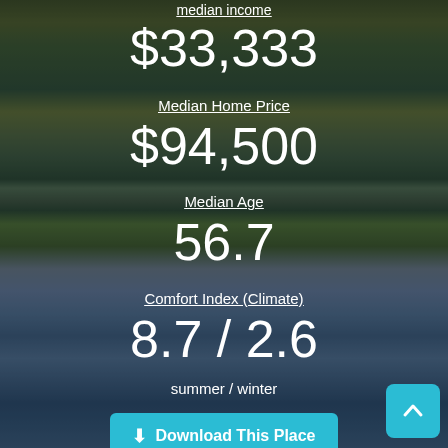Median Income
$33,333
Median Home Price
$94,500
Median Age
56.7
Comfort Index (Climate)
8.7 / 2.6
summer / winter
Download This Place